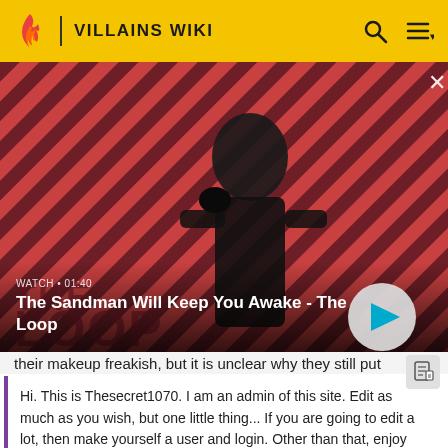VILLAINS WIKI
[Figure (screenshot): Video thumbnail showing a dark-clothed man with a raven on shoulder against a red-and-black diagonal stripe background. Text 'THE LOOP' visible. Watch time 01:40. Play button visible.]
The Sandman Will Keep You Awake - The Loop
their makeup freakish, but it is unclear why they still put
Hi. This is Thesecret1070. I am an admin of this site. Edit as much as you wish, but one little thing... If you are going to edit a lot, then make yourself a user and login. Other than that, enjoy Villains Wiki!!!